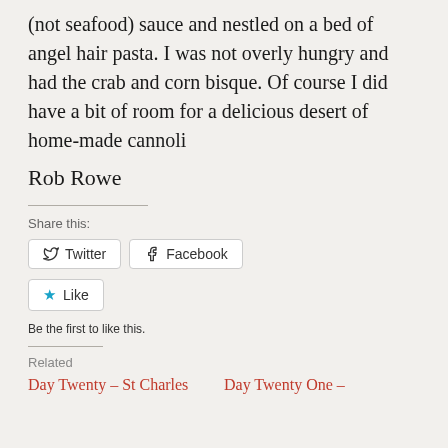(not seafood) sauce and nestled on a bed of angel hair pasta. I was not overly hungry and had the crab and corn bisque. Of course I did have a bit of room for a delicious desert of home-made cannoli
Rob Rowe
Share this:
Twitter  Facebook
Like
Be the first to like this.
Related
Day Twenty – St Charles    Day Twenty One –